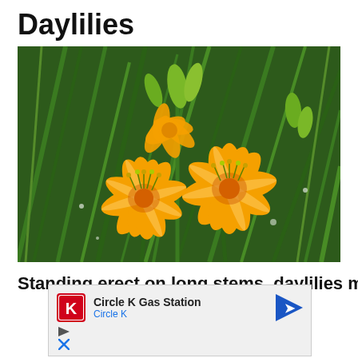Daylilies
[Figure (photo): Close-up photograph of orange daylily flowers with long stamens, surrounded by green grass-like foliage and green buds in natural light.]
Standing erect on long stems, daylilies may
[Figure (screenshot): Advertisement overlay showing Circle K Gas Station ad with Circle K logo, navigation arrow icon, and play/close icons at the bottom.]